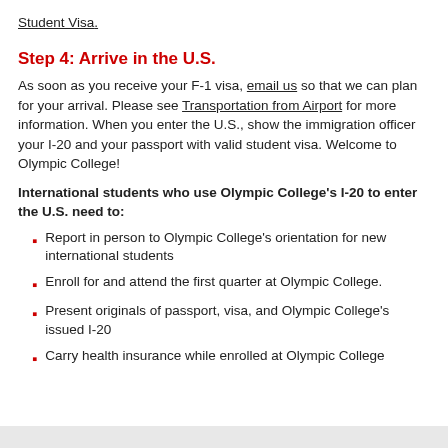Student Visa.
Step 4: Arrive in the U.S.
As soon as you receive your F-1 visa, email us so that we can plan for your arrival. Please see Transportation from Airport for more information. When you enter the U.S., show the immigration officer your I-20 and your passport with valid student visa. Welcome to Olympic College!
International students who use Olympic College's I-20 to enter the U.S. need to:
Report in person to Olympic College's orientation for new international students
Enroll for and attend the first quarter at Olympic College.
Present originals of passport, visa, and Olympic College's issued I-20
Carry health insurance while enrolled at Olympic College